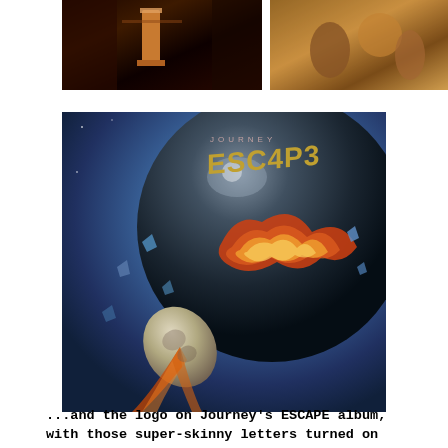[Figure (photo): Top-left photo: dark interior scene with warm orange/reddish tones, possibly a hallway or room]
[Figure (photo): Top-right photo: movie poster or illustration with figures, orange and warm tones]
[Figure (illustration): Journey ESCAPE album cover art featuring the band name 'JOURNEY' in small text at top, stylized alien script logo 'ESCAPE' rendered as 'ESC4P3', and a large dark spherical planet with a comet/meteor breaking through it, scattering fragments, set against a blue space background]
...and the logo on Journey's ESCAPE album, with those super-skinny letters turned on